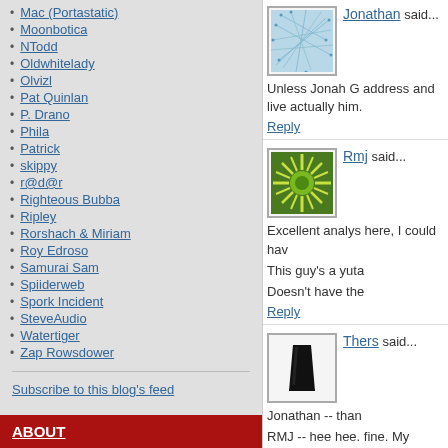Mac (Portastatic)
Moonbotica
NTodd
Oldwhitelady
Olvizl
Pat Quinlan
P. Drano
Phila
Patrick
skippy
r@d@r
Righteous Bubba
Ripley
Rorshach & Miriam
Roy Edroso
Samurai Sam
Spiiderweb
Spork Incident
SteveAudio
Watertiger
Zap Rowsdower
Subscribe to this blog's feed
ABOUT
Jonathan said...
Unless Jonah G address and live actually him.
Reply
Rmj said...
Excellent analys here, I could hav
This guy's a yuta
Doesn't have the
Reply
Thers said...
Jonathan -- than
RMJ -- hee hee. fine. My biggest